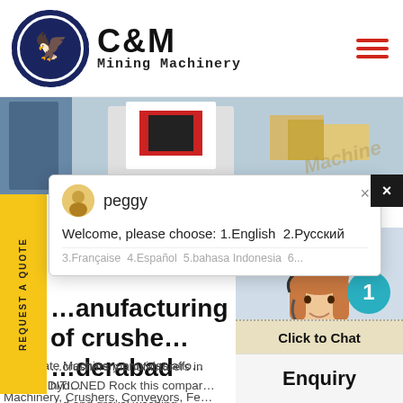[Figure (logo): C&M Mining Machinery logo with eagle in gear circle and bold text]
[Figure (photo): Hero banner showing industrial machinery and equipment in warehouse]
REQUEST A QUOTE (vertical sidebar yellow button)
[Figure (screenshot): Live chat popup from agent Peggy. Message: Welcome, please choose: 1.English 2.Русский 3.Française 4.Español 5.bahasa Indonesia 6...]
manufacturing of crushers in hyderabad
crushers manufacturers in hyd... and gravel washing equipment... Machinery, Crushers, Conveyors, Fe... Aggregate Machinery provides affo... RECONDITIONED Rock this compa...
[Figure (photo): Customer service agent woman with headset smiling, with blue notification badge showing 1]
Click to Chat
Enquiry